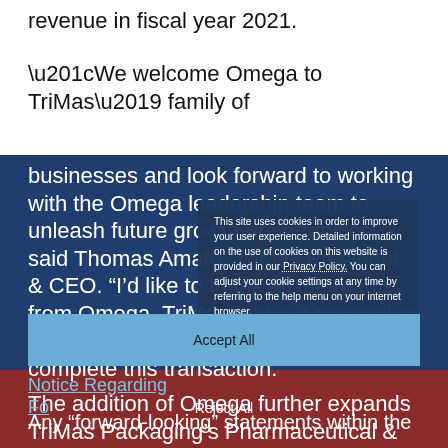revenue in fiscal year 2021.
“We welcome Omega to TriMas’ family of businesses and look forward to working with the Omega leadership team to unleash future growth opportunities,” said Thomas Amato, TriMas President & CEO. “I’d like to thank all the teams from Omega, TriMas and our respective advisors that supported the work to complete this transaction.”
This site uses cookies in order to improve your user experience. Detailed information on the use of cookies on this website is provided in our Privacy Policy. You can adjust your cookie settings at any time by referring to the help menu on your internet browser.
The addition of Omega further expands TriMas Packaging’s Pharmaceutical & Nutraceutical product offering into supporting medical device contract development manufacturing customers.
Accept All
Notice Regarding Forward-Looking Statements
Reject All
Any “forward-looking” statements within the